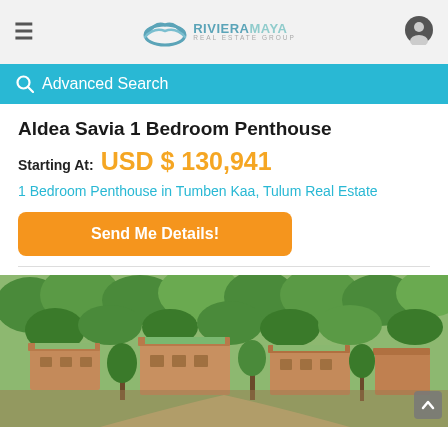Riviera Maya Real Estate Group
Advanced Search
Aldea Savia 1 Bedroom Penthouse
Starting At: USD $ 130,941
1 Bedroom Penthouse in Tumben Kaa, Tulum Real Estate
Send Me Details!
[Figure (photo): Aerial/elevated rendering of a low-rise residential development surrounded by tropical trees, showing terracotta-colored buildings with green roof gardens]